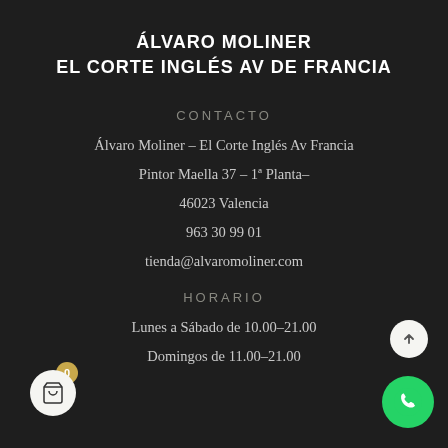ÁLVARO MOLINER
EL CORTE INGLÉS AV DE FRANCIA
CONTACTO
Álvaro Moliner – El Corte Inglés Av Francia
Pintor Maella 37 – 1ª Planta–
46023 Valencia
963 30 99 01
tienda@alvaromoliner.com
HORARIO
Lunes a Sábado de 10.00–21.00
Domingos de 11.00–21.00